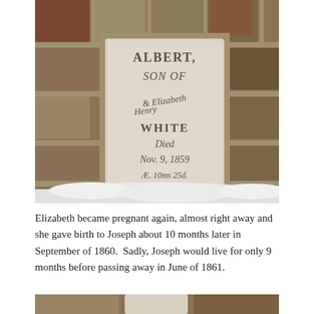[Figure (photo): Photo of a stone grave marker/tombstone embedded in a stone wall, with snow at the base. The marker reads: ALBERT, SON OF Henry & Elizabeth WHITE Died Nov. 9, 1859 Æ. 10ms 25d.]
Elizabeth became pregnant again, almost right away and she gave birth to Joseph about 10 months later in September of 1860.  Sadly, Joseph would live for only 9 months before passing away in June of 1861.
[Figure (photo): Partial view of another stone grave marker at the bottom of the page, partially cut off.]